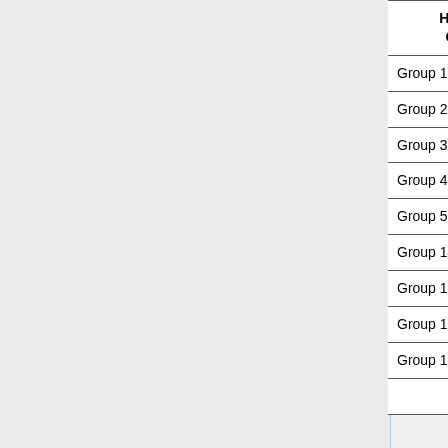| Hellman Group | Name | Reference |
| --- | --- | --- |
| Group 1 | 768 bit MODP group | RFC 2409 |
| Group 2 | 1024 bits MODP group | RFC 2409 |
| Group 3 | EC2N group on GP(2^155) | RFC 2409 |
| Group 4 | EC2N group on GP(2^185) | RFC 2409 |
| Group 5 | 1536 bits MODP group | RFC 3526 |
| Group 14 | 2048 bits MODP group | RFC 3526 |
| Group 15 | 3072 bits MODP group | RFC 3526 |
| Group 16 | 4096 bits MODP group | RFC 3526 |
| Group 17 | 6144 bits MODP group | RFC 3526 |